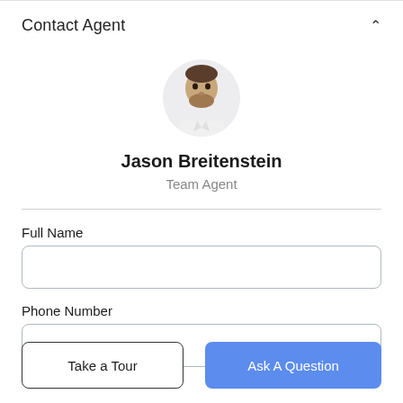Contact Agent
[Figure (photo): Circular profile photo of agent Jason Breitenstein, a middle-aged man with short dark hair and a beard, wearing a white shirt]
Jason Breitenstein
Team Agent
Full Name
Phone Number
Take a Tour
Ask A Question